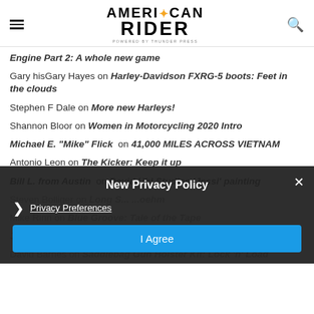AMERICAN RIDER (powered by THUNDER PRESS)
Engine Part 2: A whole new game
Gary hisGary Hayes on Harley-Davidson FXRG-5 boots: Feet in the clouds
Stephen F Dale on More new Harleys!
Shannon Bloor on Women in Motorcycling 2020 Intro
Michael E. "Mike" Flick on 41,000 MILES ACROSS VIETNAM
Antonio Leon on The Kicker: Keep it up
Bill L. from Austin on David Uhl Studios 'Jessi' painting
Steven Bolliger on Long S... ...oehm
Mike Rinn on Blue Groove: Tale of the Tape
Jacalyn Anderson on Ma Rad... ...2
David Barnes on Saddlebag Gun Holster Kit: Lock 'n' Load
New Privacy Policy | Privacy Preferences | I Agree